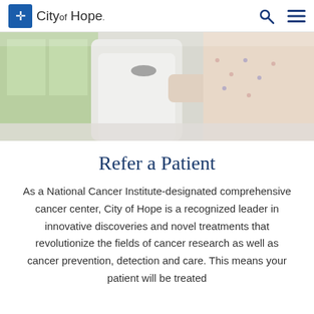City of Hope
[Figure (photo): A doctor in a white lab coat using a stethoscope to examine a patient wearing a hospital gown, in a clinical setting with windows in the background.]
Refer a Patient
As a National Cancer Institute-designated comprehensive cancer center, City of Hope is a recognized leader in innovative discoveries and novel treatments that revolutionize the fields of cancer research as well as cancer prevention, detection and care. This means your patient will be treated